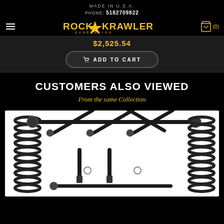MADE IN U.S.A.
PHONE: 5182709822
[Figure (logo): Rock Krawler Suspension logo in yellow/gold on black background]
$2,525.54
ADD TO CART
CUSTOMERS ALSO VIEWED
From the same Collection
[Figure (photo): Suspension kit components including coil springs, control arms, and linkages on white background]